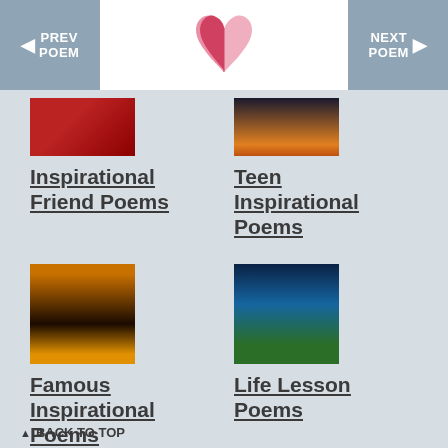PREV POEM | [logo] | NEXT POEM
Inspirational Friend Poems
Teen Inspirational Poems
Famous Inspirational Poems
Life Lesson Poems
Courage Poems
Faith Poems
▲ BACK TO TOP